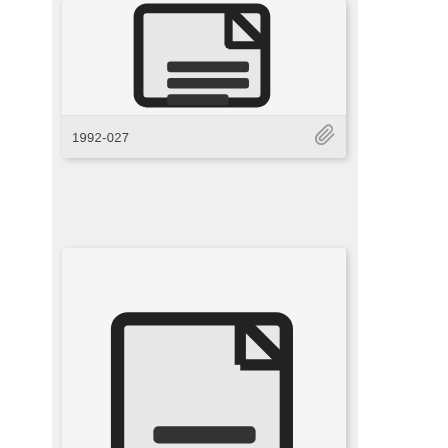[Figure (illustration): Document icon thumbnail with label 1992-027 and paperclip icon, partially visible at top of page]
[Figure (illustration): Document icon thumbnail with label 1999-035 and paperclip icon, fully visible in middle of page]
[Figure (illustration): Document icon thumbnail partially visible at bottom of page]